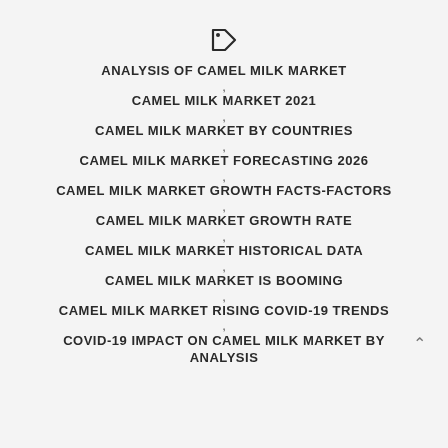[Figure (illustration): Tag/label icon]
ANALYSIS OF CAMEL MILK MARKET
CAMEL MILK MARKET 2021
CAMEL MILK MARKET BY COUNTRIES
CAMEL MILK MARKET FORECASTING 2026
CAMEL MILK MARKET GROWTH FACTS-FACTORS
CAMEL MILK MARKET GROWTH RATE
CAMEL MILK MARKET HISTORICAL DATA
CAMEL MILK MARKET IS BOOMING
CAMEL MILK MARKET RISING COVID-19 TRENDS
COVID-19 IMPACT ON CAMEL MILK MARKET BY ANALYSIS